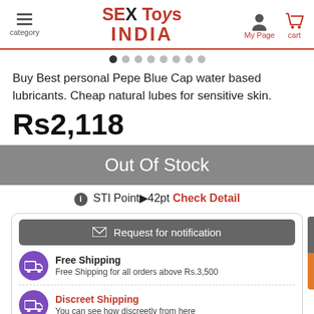SEX Toys INDIA — category / My Page / cart
Buy Best personal Pepe Blue Cap water based lubricants. Cheap natural lubes for sensitive skin.
Rs2,118
Out Of Stock
STI Pointⓘ42pt Check Detail
✉ Request for notification
Free Shipping
Free Shipping for all orders above Rs.3,500
Discreet Shipping
You can see how discreetly from here
Tracking Numbers